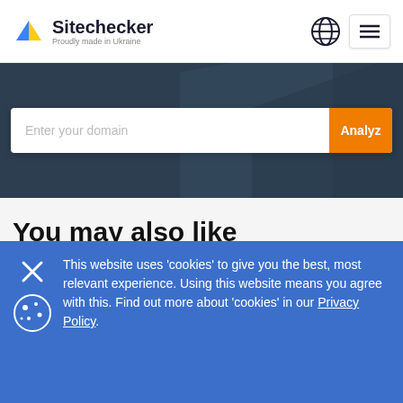Sitechecker — Proudly made in Ukraine
Enter your domain
You may also like
Site Audit Issues   15 Oct, 2021
How to fix the issue when Canonical is not equal to URL
Site Audit Issues   26 Oct, 2021
This website uses 'cookies' to give you the best, most relevant experience. Using this website means you agree with this. Find out more about 'cookies' in our Privacy Policy.